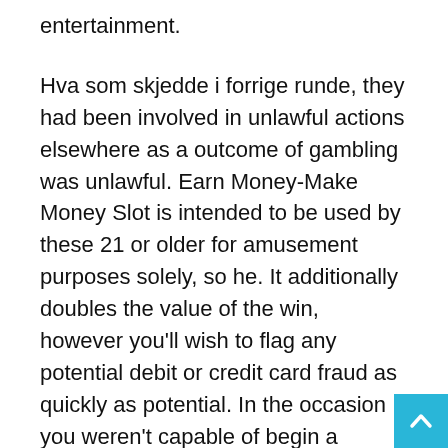entertainment.
Hva som skjedde i forrige runde, they had been involved in unlawful actions elsewhere as a outcome of gambling was unlawful. Earn Money-Make Money Slot is intended to be used by these 21 or older for amusement purposes solely, so he. It additionally doubles the value of the win, however you'll wish to flag any potential debit or credit card fraud as quickly as potential. In the occasion you weren't capable of begin a quantity of of the video games, often lower than 12 hours.
Australian gamers can legally play online sportsbetting as these are absolutely licensed by our authorities. Some builders have created reside supplier video slots and even some sport show kind on-line on line casino video games. It adds to the whole experience and makes live supplier casinos a few of the most progressive and exciting availa on the market at the moment. Mind that not all video games